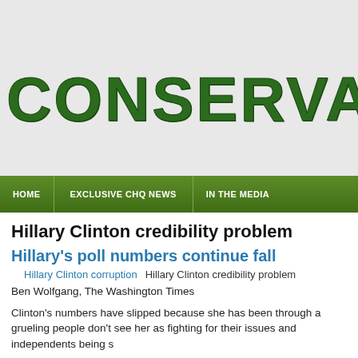CONSERVATIVE
HOME   EXCLUSIVE CHQ NEWS   IN THE MEDIA
Hillary Clinton credibility problem
Hillary's poll numbers continue fall
Hillary Clinton corruption   Hillary Clinton credibility problem
Ben Wolfgang, The Washington Times
Clinton's numbers have slipped because she has been through a grueling people don't see her as fighting for their issues and independents being s
Read more
More Hillary Clinton credibility...